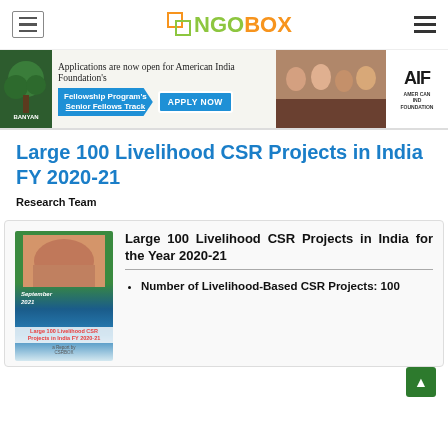NGOBOX
[Figure (infographic): Banner advertisement for American India Foundation Fellowship Program's Senior Fellows Track with Apply Now button. Shows Banyan and AIF logos with a group photo.]
Large 100 Livelihood CSR Projects in India FY 2020-21
Research Team
[Figure (illustration): Book cover thumbnail for Large 100 Livelihood CSR Projects in India FY 2020-21, September 2021 report by CSRBOX]
Large 100 Livelihood CSR Projects in India for the Year 2020-21
Number of Livelihood-Based CSR Projects: 100